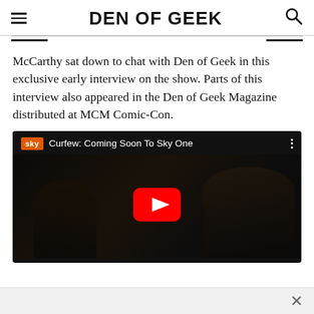DEN OF GEEK
McCarthy sat down to chat with Den of Geek in this exclusive early interview on the show. Parts of this interview also appeared in the Den of Geek Magazine distributed at MCM Comic-Con.
[Figure (screenshot): YouTube video embed showing 'Curfew: Coming Soon To Sky One' with Sky logo, video title, three-dot menu, and YouTube play button over a dark cinematic thumbnail showing two people in low light.]